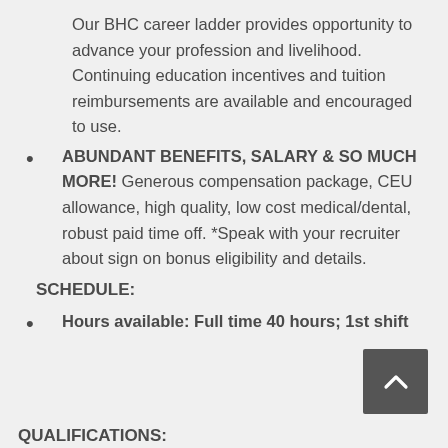Our BHC career ladder provides opportunity to advance your profession and livelihood. Continuing education incentives and tuition reimbursements are available and encouraged to use.
ABUNDANT BENEFITS, SALARY & SO MUCH MORE!  Generous compensation package, CEU allowance, high quality, low cost medical/dental, robust paid time off. *Speak with your recruiter about sign on bonus eligibility and details.
SCHEDULE:
Hours available: Full time 40 hours; 1st shift
QUALIFICATIONS: